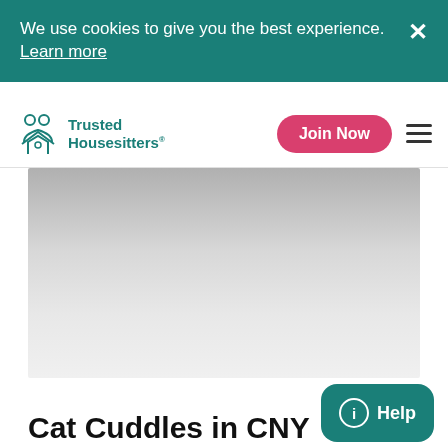We use cookies to give you the best experience. Learn more
[Figure (logo): Trusted Housesitters logo with icon]
Join Now
[Figure (photo): Hero image area - gray gradient placeholder photo]
Cat Cuddles in CNY
Help